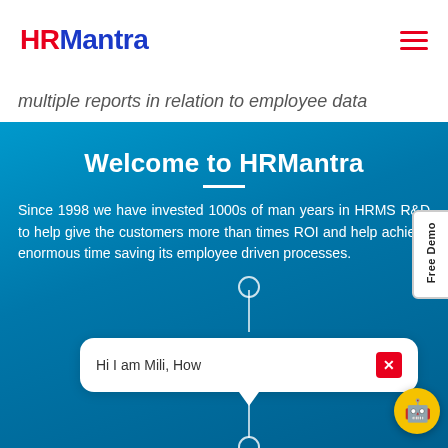HRMantra
multiple reports in relation to employee data
Welcome to HRMantra
Since 1998 we have invested 1000s of man years in HRMS R&D to help give the customers more than times ROI and help achieve enormous time saving its employee driven processes.
[Figure (screenshot): Chat bubble with text 'Hi I am Mili, How' and a red close button, with vertical connector lines and circles above and below, and a robot chatbot icon in the bottom right corner]
Free Demo